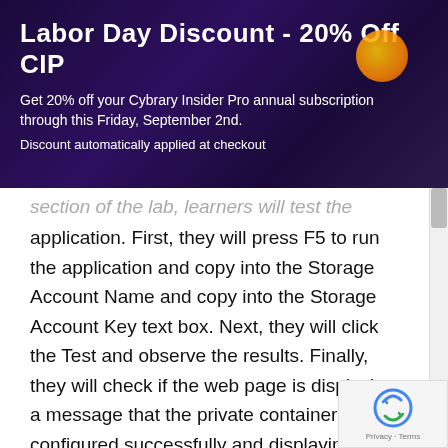Labor Day Discount - 20% Off CIP
Get 20% off your Cybrary Insider Pro annual subscription through this Friday, September 2nd.
Discount automatically applied at checkout
section of the lab, learners will test the application. First, they will press F5 to run the application and copy into the Storage Account Name and copy into the Storage Account Key text box. Next, they will click the Test and observe the results. Finally, they will check if the web page is displaying a message that the private container is configured successfully and displaying the uploaded images.
Lab Summary Conclusion
After completing the "Integrate Blob Storage with Private Access" virtual lab, you will have